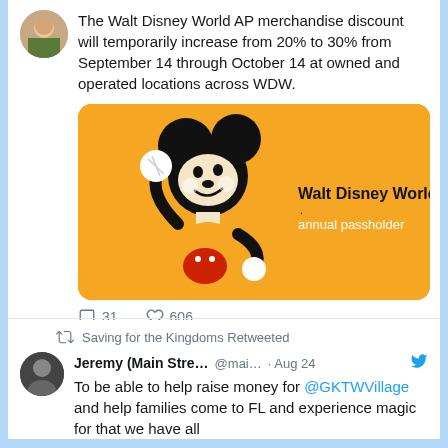The Walt Disney World AP merchandise discount will temporarily increase from 20% to 30% from September 14 through October 14 at owned and operated locations across WDW.
[Figure (illustration): Walt Disney World Annual Passholder card with Mickey Mouse illustration on yellow background]
31 replies, 606 likes
Saving for the Kingdoms Retweeted
Jeremy (Main Stre... @mai. · Aug 24
To be able to help raise money for @GKTWVillage and help families come to FL and experience magic for that we have all